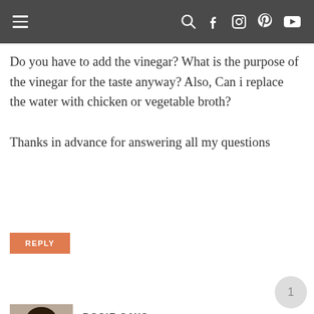navigation header with menu icon and social icons: search, facebook, instagram, pinterest, youtube
Do you have to add the vinegar? What is the purpose of the vinegar for the taste anyway? Also, Can i replace the water with chicken or vegetable broth?
Thanks in advance for answering all my questions
REPLY
ROSIE SAYS
NOVEMBER 23, 2016 AT 10:53 AM
The vinegar is optional. It adds flavor.
Yes, you can use broth instead of water.